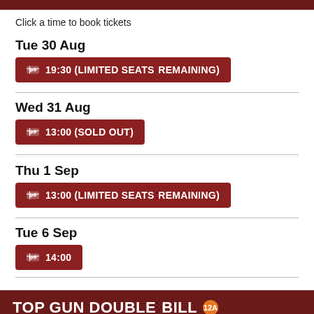Click a time to book tickets
Tue 30 Aug
19:30 (LIMITED SEATS REMAINING)
Wed 31 Aug
13:00 (SOLD OUT)
Thu 1 Sep
13:00 (LIMITED SEATS REMAINING)
Tue 6 Sep
14:00
TOP GUN DOUBLE BILL 12A